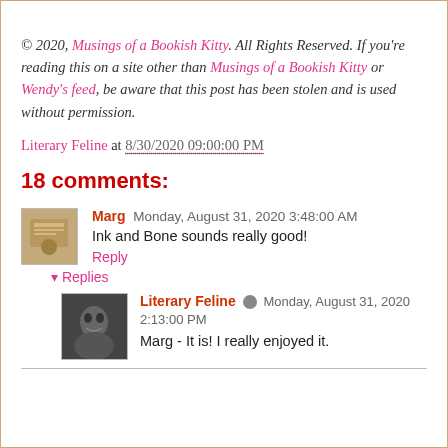© 2020, Musings of a Bookish Kitty. All Rights Reserved. If you're reading this on a site other than Musings of a Bookish Kitty or Wendy's feed, be aware that this post has been stolen and is used without permission.
Literary Feline at 8/30/2020 09:00:00 PM
18 comments:
Marg  Monday, August 31, 2020 3:48:00 AM
Ink and Bone sounds really good!
Reply
▾ Replies
Literary Feline ✏ Monday, August 31, 2020 2:13:00 PM
Marg - It is! I really enjoyed it.